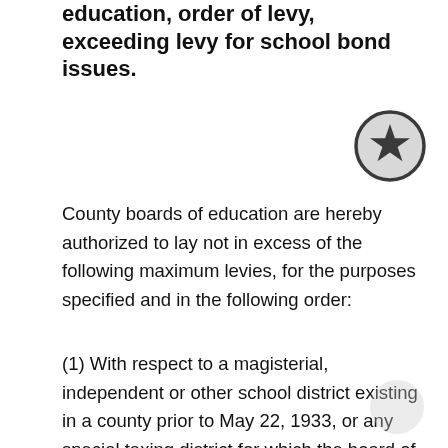education, order of levy, exceeding levy for school bond issues.
[Figure (illustration): Circular badge with a star icon in the center, dark gray border on light gray background]
County boards of education are hereby authorized to lay not in excess of the following maximum levies, for the purposes specified and in the following order:
(1) With respect to a magisterial, independent or other school district existing in a county prior to May 22, 1933, or any special taxing district for which the board of Education is required to lay the levy, for the payment of (a) interest and sinking fund requirements for bonded indebtedness incurred prior to the adoption of the Tax Limitation Amendment; and (to the extent not so required), (b) other legally incurred contractual indebtedness not bonded, if service on said prior to the